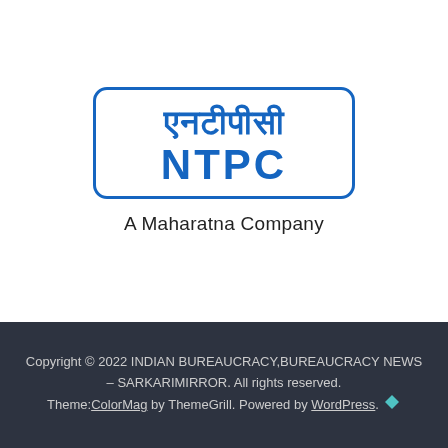[Figure (logo): NTPC logo with Hindi text (एनटीपीसी) and English text (NTPC) inside a blue rounded rectangle border, with 'A Maharatna Company' text below]
Copyright © 2022 INDIAN BUREAUCRACY,BUREAUCRACY NEWS – SARKARIMIRROR. All rights reserved. Theme: ColorMag by ThemeGrill. Powered by WordPress.